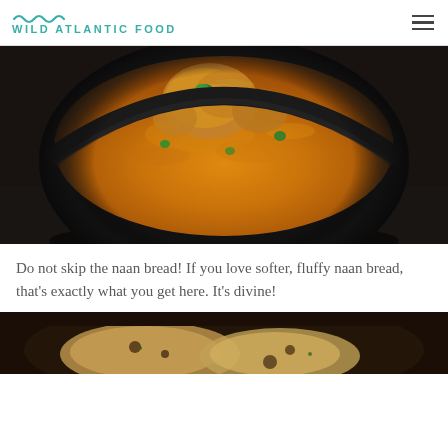WILD ATLANTIC FOOD
[Figure (photo): A black bowl filled with golden-orange curry or stew, garnished with fresh green herbs (coriander/cilantro), photographed from above on a dark surface.]
Do not skip the naan bread! If you love softer, fluffy naan bread, that’s exactly what you get here. It’s divine!
[Figure (photo): Partial view of a dish with naan bread, dark background.]